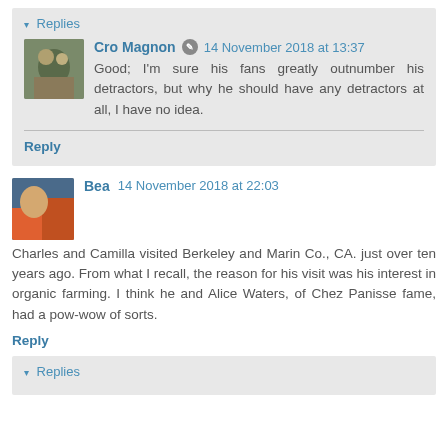▾ Replies
Cro Magnon ✎ 14 November 2018 at 13:37
Good; I'm sure his fans greatly outnumber his detractors, but why he should have any detractors at all, I have no idea.
Reply
Bea 14 November 2018 at 22:03
Charles and Camilla visited Berkeley and Marin Co., CA. just over ten years ago. From what I recall, the reason for his visit was his interest in organic farming. I think he and Alice Waters, of Chez Panisse fame, had a pow-wow of sorts.
Reply
▾ Replies